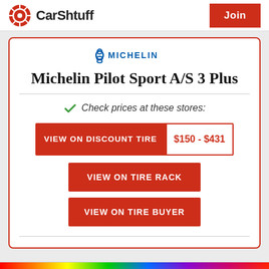CarShtuff | Join
[Figure (logo): Michelin brand logo with Bibendum mascot and MICHELIN text in blue]
Michelin Pilot Sport A/S 3 Plus
Check prices at these stores:
VIEW ON DISCOUNT TIRE $150 - $431
VIEW ON TIRE RACK
VIEW ON TIRE BUYER
[Figure (infographic): BitLife advertisement banner with rainbow background and cartoon characters. Text reads: WHEN REAL LIFE IS QUARANTINED and BitLife logo. Has close/X buttons.]